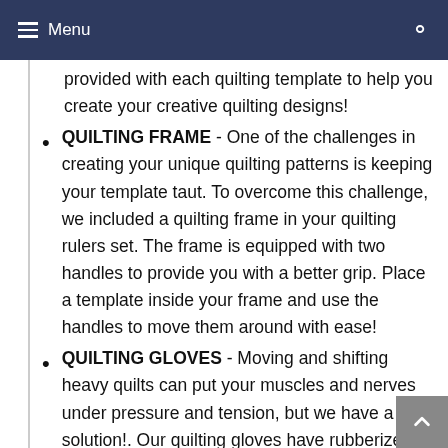Menu
provided with each quilting template to help you create your creative quilting designs!
QUILTING FRAME - One of the challenges in creating your unique quilting patterns is keeping your template taut. To overcome this challenge, we included a quilting frame in your quilting rulers set. The frame is equipped with two handles to provide you with a better grip. Place a template inside your frame and use the handles to move them around with ease!
QUILTING GLOVES - Moving and shifting heavy quilts can put your muscles and nerves under pressure and tension, but we have a solution!. Our quilting gloves have rubberized fingertips. This rubberized coating will help you move heavy quilts easily as it provides a better...